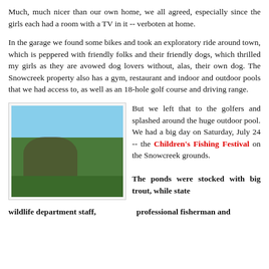Much, much nicer than our own home, we all agreed, especially since the girls each had a room with a TV in it -- verboten at home.
In the garage we found some bikes and took an exploratory ride around town, which is peppered with friendly folks and their friendly dogs, which thrilled my girls as they are avowed dog lovers without, alas, their own dog. The Snowcreek property also has a gym, restaurant and indoor and outdoor pools that we had access to, as well as an 18-hole golf course and driving range.
[Figure (photo): Photo of a man and child fishing at a pond with a crowd of people in the background outdoors on a sunny day]
But we left that to the golfers and splashed around the huge outdoor pool. We had a big day on Saturday, July 24 -- the Children's Fishing Festival on the Snowcreek grounds.
The ponds were stocked with big trout, while state wildlife department staff, professional fisherman and